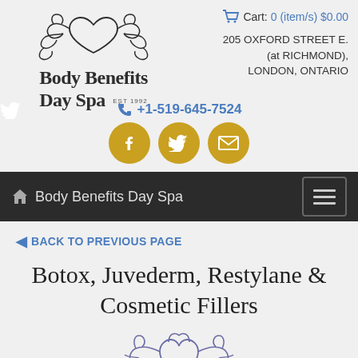[Figure (logo): Body Benefits Day Spa logo with decorative scroll/flourish above text. Text reads 'Body Benefits Day Spa EST 1992']
Cart:0 (item/s) $0.00
205 OXFORD STREET E. (at RICHMOND), LONDON, ONTARIO
+1-519-645-7524
[Figure (illustration): Three golden/amber circular social media icon buttons: Facebook (f), Twitter (bird), Email (envelope)]
Body Benefits Day Spa
BACK TO PREVIOUS PAGE
Botox, Juvederm, Restylane & Cosmetic Fillers
[Figure (illustration): Decorative purple/lavender ornamental divider with heart and scroll flourish design, similar to the logo motif]